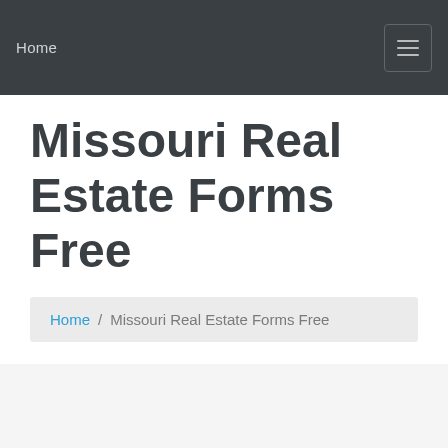Home
Missouri Real Estate Forms Free
Home / Missouri Real Estate Forms Free